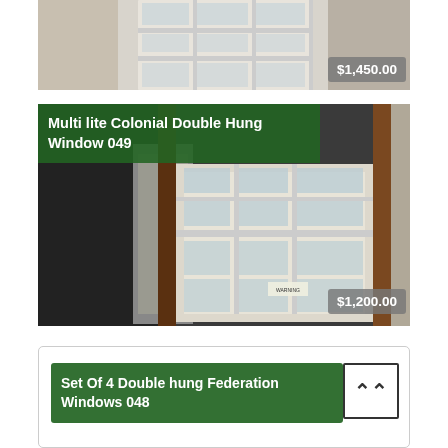[Figure (photo): Top cropped photo of a white multi-pane Colonial window set in a brick and plaster wall, with a price badge showing $1,450.00 in the bottom right.]
[Figure (photo): Photo of a Multi lite Colonial Double Hung Window (049) — cream/white painted wooden multi-pane double hung window leaning against a wall with dark and concrete surfaces. A green title overlay reads 'Multi lite Colonial Double Hung Window 049' and a price badge shows $1,200.00.]
[Figure (photo): Bottom product card with green title overlay reading 'Set Of 4 Double hung Federation Windows 048' and an up-arrow button on the right.]